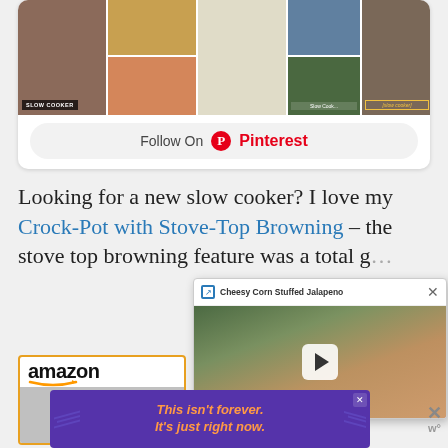[Figure (screenshot): Pinterest board photo grid showing slow cooker recipe images with a Follow On Pinterest button below]
Looking for a new slow cooker? I love my Crock-Pot with Stove-Top Browning – the stove top browning feature was a total g…
[Figure (screenshot): Popup video player showing Cheesy Corn Stuffed Jalapeno recipe with a play button over a food photo]
[Figure (screenshot): Amazon advertisement showing a slow cooker / Crock-Pot product with orange bordered card]
[Figure (screenshot): Purple banner advertisement reading 'This isn't forever. It's just right now.' with orange italic text]